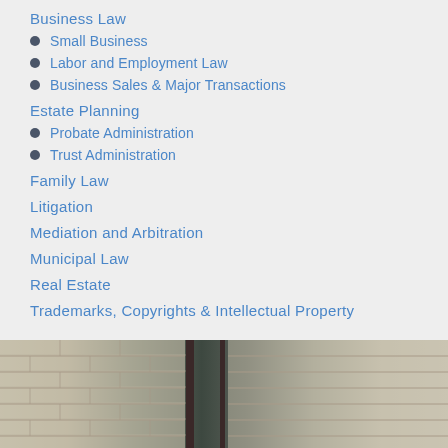Business Law
Small Business
Labor and Employment Law
Business Sales & Major Transactions
Estate Planning
Probate Administration
Trust Administration
Family Law
Litigation
Mediation and Arbitration
Municipal Law
Real Estate
Trademarks, Copyrights & Intellectual Property
[Figure (photo): Exterior photo of a brick building with dark window frames]